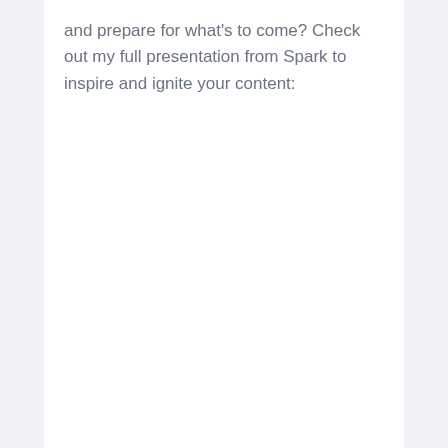and prepare for what's to come? Check out my full presentation from Spark to inspire and ignite your content: